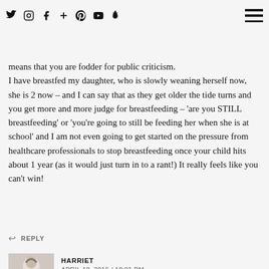Social media icons (Twitter, Instagram, Facebook, Plus, Pinterest, YouTube, Snapchat) and hamburger menu
swashing unge shares our further family, — and everyone else needs to accept that — I don't get why pregnancy and having children means that you are fodder for public criticism.
I have breastfed my daughter, who is slowly weaning herself now, she is 2 now – and I can say that as they get older the tide turns and you get more and more judge for breastfeeding – 'are you STILL breastfeeding' or 'you're going to still be feeding her when she is at school' and I am not even going to get started on the pressure from healthcare professionals to stop breastfeeding once your child hits about 1 year (as it would just turn in to a rant!) It really feels like you can't win!
↩ REPLY
[Figure (photo): Avatar photo of a woman with a baby, used as commenter profile image]
HARRIET
APRIL 10, 2016 / 10:01 PM